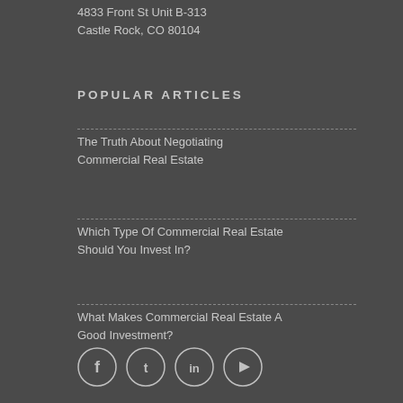4833 Front St Unit B-313
Castle Rock, CO 80104
POPULAR ARTICLES
The Truth About Negotiating Commercial Real Estate
Which Type Of Commercial Real Estate Should You Invest In?
What Makes Commercial Real Estate A Good Investment?
[Figure (illustration): Social media icons: Facebook, Twitter, LinkedIn, YouTube]